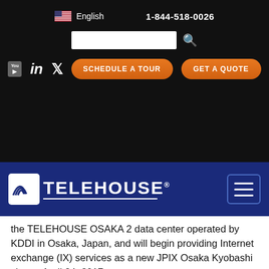English  1-844-518-0026
[Figure (screenshot): Telehouse website navigation header with logo, search bar, social media icons (YouTube, LinkedIn, Twitter), Schedule a Tour and Get a Quote orange buttons]
the TELEHOUSE OSAKA 2 data center operated by KDDI in Osaka, Japan, and will begin providing Internet exchange (IX) services as a new JPIX Osaka Kyobashi site on April 24, 2017.
The partnership, which aims to meet the growing demand for IX and colocation [2] services in Osaka, will give TELEHOUSE OSAKA 2 users access to KDDI's capability to support the high power demand while offering high reliability and connectivity to KDDI's network, and to JPIX's